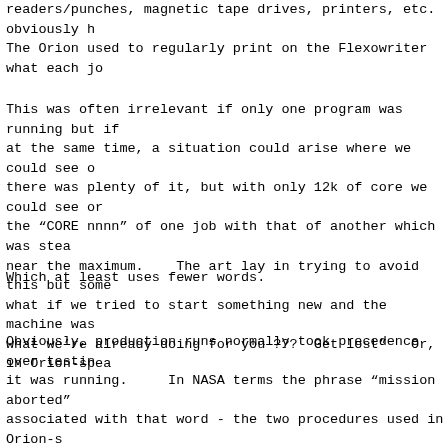readers/punches, magnetic tape drives, printers, etc. obviously h The Orion used to regularly print on the Flexowriter what each jo
This was often irrelevant if only one program was running but if at the same time, a situation could arise where we could see o there was plenty of it, but with only 12k of core we could see or the “CORE nnnn” of one job with that of another which was stea near the maximum.    The art lay in trying to avoid this but some what if we tried to start something new and the machine was what we’re already doing for you ???  Get lost”   Or, in Orion-spea
Which at least uses fewer words.
Obviously, production runs normally took precedence over testin it was running.     In NASA terms the phrase “mission aborted” associated with that word - the two procedures used in Orion-s “ABO” and “ABA”.   And it was considered essential to use the co produced giving various scenarios and asking, in each case, “Do probably didn’t either) but in my case I didn’t have to answer as I